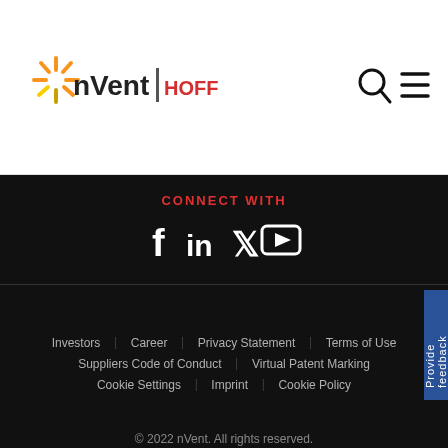[Figure (logo): nVent HOFFMAN logo with orange starburst icon and red HOFFMAN text]
[Figure (other): Search icon (magnifying glass) and hamburger menu icon in the header]
CONNECT WITH
[Figure (other): Social media icons: Facebook, LinkedIn, Twitter, YouTube]
Investors   Career   Privacy Statement   Terms of Use   Suppliers Code of Conduct   Virtual Patent Marking   Cookie Settings   Imprint   Cookie Policy
© 2022 nVent. All rights reserved.
Provide feedback